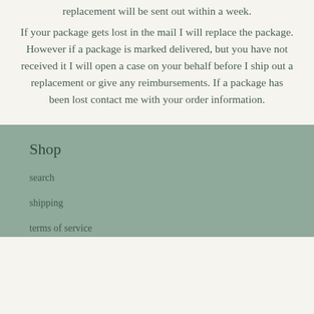replacement will be sent out within a week.
If your package gets lost in the mail I will replace the package. However if a package is marked delivered, but you have not received it I will open a case on your behalf before I ship out a replacement or give any reimbursements. If a package has been lost contact me with your order information.
Shop
search
shipping
terms of service